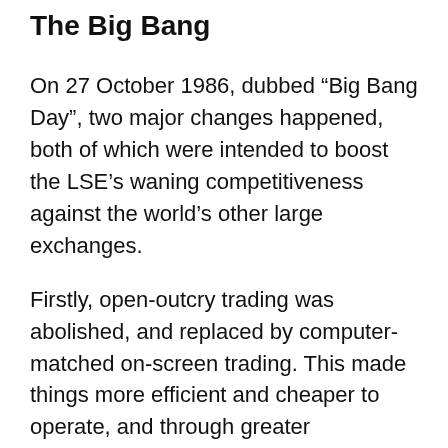The Big Bang
On 27 October 1986, dubbed “Big Bang Day”, two major changes happened, both of which were intended to boost the LSE’s waning competitiveness against the world’s other large exchanges.
Firstly, open-outcry trading was abolished, and replaced by computer-matched on-screen trading. This made things more efficient and cheaper to operate, and through greater transparency reduced the possibility of price manipulation.
Secondly, the stock market was extensively